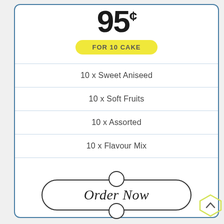95¢
FOR 10 CAKE
10 x Sweet Aniseed
10 x Soft Fruits
10 x Assorted
10 x Flavour Mix
Order Now